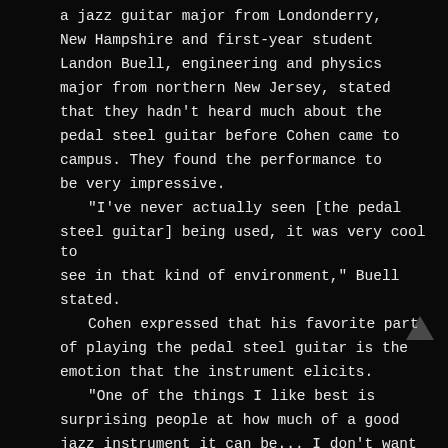a jazz guitar major from Londonderry, New Hampshire and first-year student Landon Buell, engineering and physics major from northern New Jersey, stated that they hadn't heard much about the pedal steel guitar before Cohen came to campus. They found the performance to be very impressive.

"I've never actually seen [the pedal steel guitar] being used, it was very cool to see in that kind of environment," Buell stated.

Cohen expressed that his favorite part of playing the pedal steel guitar is the emotion that the instrument elicits.

"One of the things I like best is surprising people at how much of a good jazz instrument it can be... I don't want to give people what they are expecting from the instrument," Cohen said.
REVIEWS of "PEDAL STEEL JAZZ" (2012) FROM OTHER STEEL GUITAR PROS...